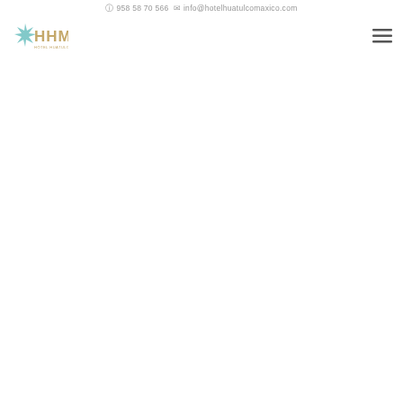ⓘ 958 58 70 566  ✉ info@hotelhuatulcomaxico.com
[Figure (logo): Hotel Huatulco México (HHM) logo with a green starfish/star icon on the left and stylized HHM text with 'HOTEL HUATULCO MÉXICO' subtitle in gold/beige]
[Figure (other): Hamburger menu icon (three horizontal lines) in the top right corner]